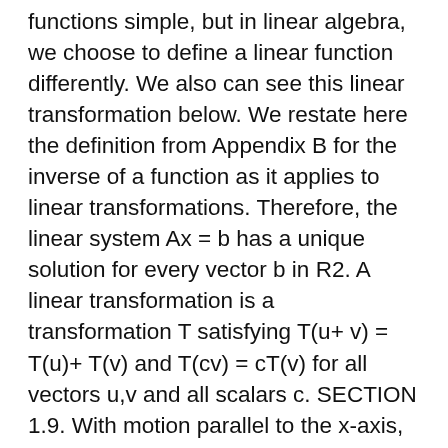functions simple, but in linear algebra, we choose to define a linear function differently. We also can see this linear transformation below. We restate here the definition from Appendix B for the inverse of a function as it applies to linear transformations. Therefore, the linear system Ax = b has a unique solution for every vector b in R2. A linear transformation is a transformation T satisfying T(u+ v) = T(u)+ T(v) and T(cv) = cT(v) for all vectors u,v and all scalars c. SECTION 1.9. With motion parallel to the x-axis, the transformation … In plane geometry, a shear mapping is a linear map that displaces each point in fixed direction, by an amount proportional to its signed distance from the line that is parallel to that direction and goes through the origin. non-uniform scales w/o rotation – Note M SM T, or S o T, is T first, then S 15 Linear Transformations as Mappings and Vector Fields. The Most Marvelous Theorem in Mathematics, Dan Kalman Shears and one directional scaling As a general matter, any 2 by 2 matrix can be used to define a